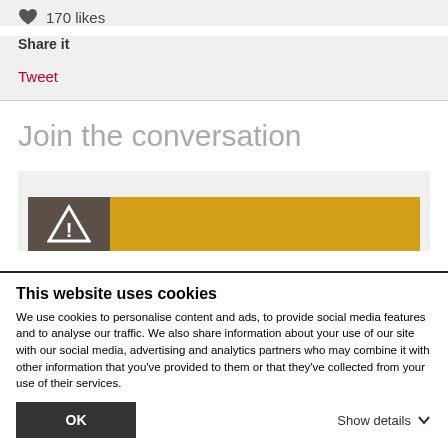170 likes
Share it
Tweet
Join the conversation
[Figure (screenshot): Warning/notification banner with dark brown icon box containing a triangle warning icon and a yellow/gold colored bar extending to the right]
This website uses cookies
We use cookies to personalise content and ads, to provide social media features and to analyse our traffic. We also share information about your use of our site with our social media, advertising and analytics partners who may combine it with other information that you've provided to them or that they've collected from your use of their services.
OK
Show details